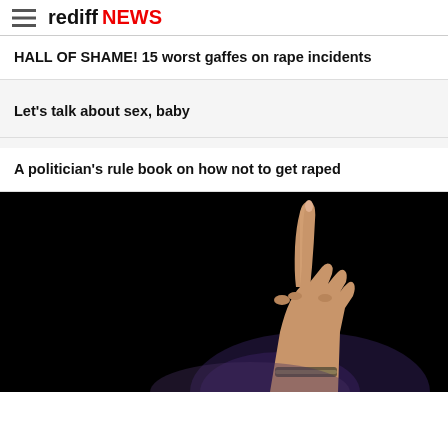rediff NEWS
HALL OF SHAME! 15 worst gaffes on rape incidents
Let's talk about sex, baby
A politician's rule book on how not to get raped
[Figure (photo): A hand with index finger pointing upward, against a dark/black background with wrist bracelet visible]